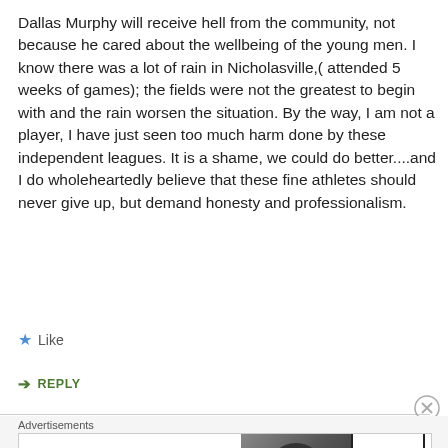Dallas Murphy will receive hell from the community, not because he cared about the wellbeing of the young men. I know there was a lot of rain in Nicholasville,( attended 5 weeks of games); the fields were not the greatest to begin with and the rain worsen the situation. By the way, I am not a player, I have just seen too much harm done by these independent leagues. It is a shame, we could do better....and I do wholeheartedly believe that these fine athletes should never give up, but demand honesty and professionalism.
★ Like
➤ REPLY
Advertisements
[Figure (other): Bloomingdale's advertisement banner showing logo, 'View Today's Top Deals!' tagline, a woman in a wide-brim hat, and a 'SHOP NOW >' button]